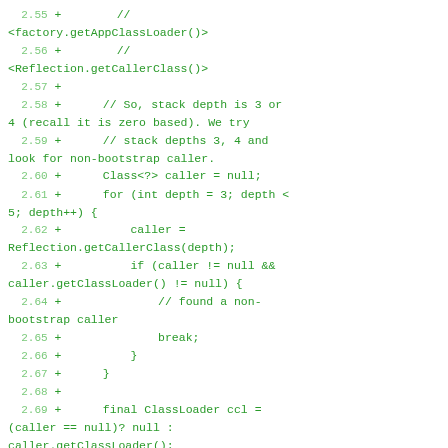2.55 +        //
<factory.getAppClassLoader()>
  2.56 +        //
<Reflection.getCallerClass()>
  2.57 +
  2.58 +      // So, stack depth is 3 or 4 (recall it is zero based). We try
  2.59 +      // stack depths 3, 4 and look for non-bootstrap caller.
  2.60 +      Class<?> caller = null;
  2.61 +      for (int depth = 3; depth < 5; depth++) {
  2.62 +          caller =
Reflection.getCallerClass(depth);
  2.63 +          if (caller != null &&
caller.getClassLoader() != null) {
  2.64 +              // found a non-bootstrap caller
  2.65 +              break;
  2.66 +          }
  2.67 +      }
  2.68 +
  2.69 +      final ClassLoader ccl =
(caller == null)? null :
caller.getClassLoader();
  2.70 +      // if caller loader is
null, then use nashorn's own loader
  2.71 +      return (ccl == null)?